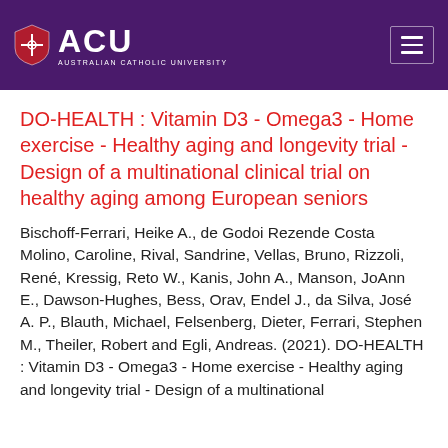[Figure (logo): ACU Australian Catholic University logo with shield icon on purple/dark violet header background, with hamburger menu icon on the right]
DO-HEALTH : Vitamin D3 - Omega3 - Home exercise - Healthy aging and longevity trial - Design of a multinational clinical trial on healthy aging among European seniors
Bischoff-Ferrari, Heike A., de Godoi Rezende Costa Molino, Caroline, Rival, Sandrine, Vellas, Bruno, Rizzoli, René, Kressig, Reto W., Kanis, John A., Manson, JoAnn E., Dawson-Hughes, Bess, Orav, Endel J., da Silva, José A. P., Blauth, Michael, Felsenberg, Dieter, Ferrari, Stephen M., Theiler, Robert and Egli, Andreas. (2021). DO-HEALTH : Vitamin D3 - Omega3 - Home exercise - Healthy aging and longevity trial - Design of a multinational